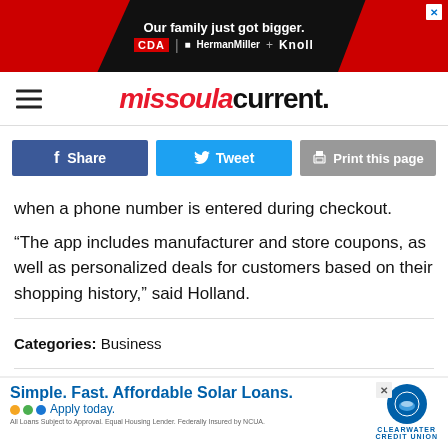[Figure (other): Top advertisement banner: dark background with red shapes on sides, text 'Our family just got bigger.' with CDA, HermanMiller + Knoll logos]
missoula current.
[Figure (other): Social share buttons: Facebook Share, Twitter Tweet, Print this page]
when a phone number is entered during checkout.
“The app includes manufacturer and store coupons, as well as personalized deals for customers based on their shopping history,” said Holland.
Categories: Business
Comments
[Figure (other): Bottom advertisement: Simple. Fast. Affordable Solar Loans. Apply today. Clearwater Credit Union]